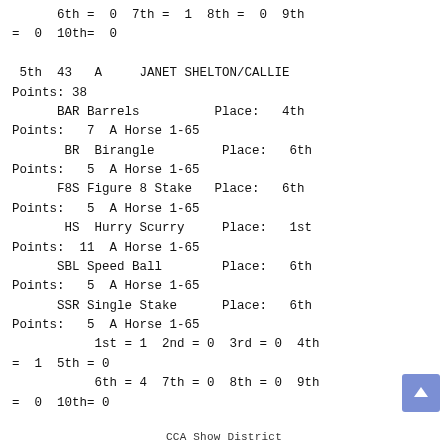6th = 0 7th = 1 8th = 0 9th = 0 10th= 0

 5th 43 A     JANET SHELTON/CALLIE
Points: 38
     BAR Barrels          Place:  4th
Points:  7  A Horse 1-65
      BR Birangle         Place:  6th
Points:  5  A Horse 1-65
     F8S Figure 8 Stake  Place:  6th
Points:  5  A Horse 1-65
      HS Hurry Scurry     Place:  1st
Points: 11  A Horse 1-65
     SBL Speed Ball       Place:  6th
Points:  5  A Horse 1-65
     SSR Single Stake     Place:  6th
Points:  5  A Horse 1-65
          1st = 1 2nd = 0 3rd = 0 4th = 1  5th = 0
          6th = 4 7th = 0 8th = 0 9th = 0 10th= 0
CCA Show District